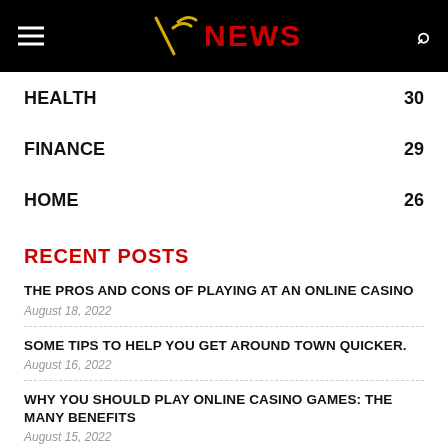NEWS
HEALTH 30
FINANCE 29
HOME 26
RECENT POSTS
THE PROS AND CONS OF PLAYING AT AN ONLINE CASINO
August 18, 2022
SOME TIPS TO HELP YOU GET AROUND TOWN QUICKER.
August 16, 2022
WHY YOU SHOULD PLAY ONLINE CASINO GAMES: THE MANY BENEFITS
August 15, 2022
WHY ONLINE GAMBLING IS BETTER THAN OFFLINE GAMBLING